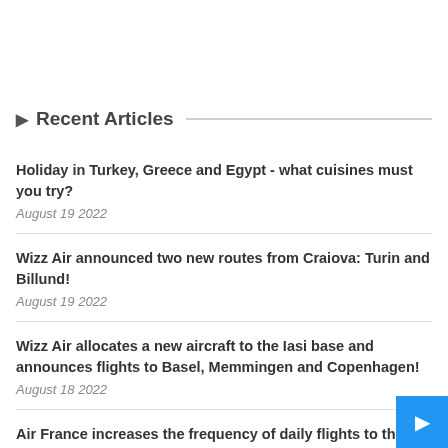Recent Articles
Holiday in Turkey, Greece and Egypt - what cuisines must you try?
August 19 2022
Wizz Air announced two new routes from Craiova: Turin and Billund!
August 19 2022
Wizz Air allocates a new aircraft to the Iasi base and announces flights to Basel, Memmingen and Copenhagen!
August 18 2022
Air France increases the frequency of daily flights to the Land of Santa Claus